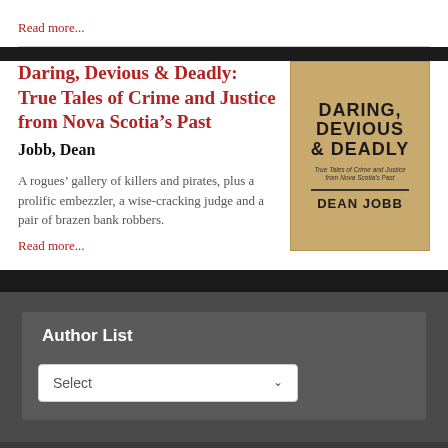Read more...
Daring, Devious & Deadly: True Tales of Crime and Justice from Nova Scotia’s Past
Jobb, Dean
[Figure (illustration): Book cover of 'Daring, Devious & Deadly: True Tales of Crime and Justice from Nova Scotia's Past' by Dean Jobb, with tan/aged paper background and bold black text]
A rogues’ gallery of killers and pirates, plus a prolific embezzler, a wise-cracking judge and a pair of brazen bank robbers.
Read more...
Author List